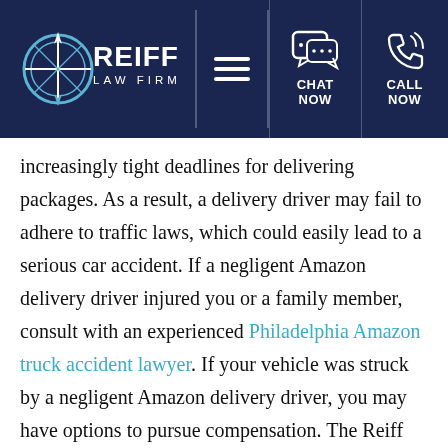[Figure (logo): Reiff Law Firm header navigation bar with logo on left, hamburger menu, chat now, and call now icons on dark navy background]
increasingly tight deadlines for delivering packages. As a result, a delivery driver may fail to adhere to traffic laws, which could easily lead to a serious car accident. If a negligent Amazon delivery driver injured you or a family member, consult with an experienced Philadelphia Amazon truck accident lawyer. If your vehicle was struck by a negligent Amazon delivery driver, you may have options to pursue compensation. The Reiff Law Firm is here to explain the actions a